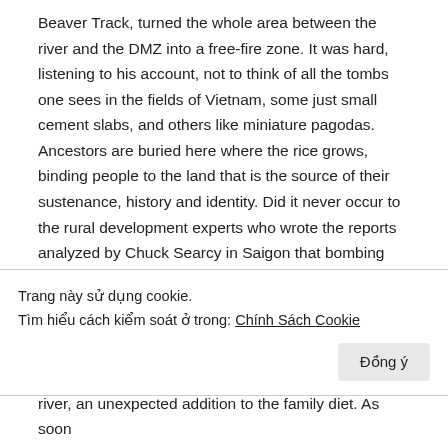Beaver Track, turned the whole area between the river and the DMZ into a free-fire zone. It was hard, listening to his account, not to think of all the tombs one sees in the fields of Vietnam, some just small cement slabs, and others like miniature pagodas. Ancestors are buried here where the rice grows, binding people to the land that is the source of their sustenance, history and identity. Did it never occur to the rural development experts who wrote the reports analyzed by Chuck Searcy in Saigon that bombing and burning people out of their villages and herding them into squalid encampments was perhaps not the best way to win their allegiance?
Trang này sử dụng cookie.
Tìm hiểu cách kiểm soát ở trong: Chính Sách Cookie
Đồng ý
river, an unexpected addition to the family diet. As soon